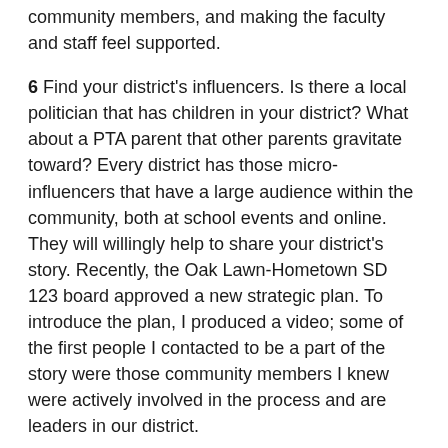community members, and making the faculty and staff feel supported.
6 Find your district's influencers. Is there a local politician that has children in your district? What about a PTA parent that other parents gravitate toward? Every district has those micro-influencers that have a large audience within the community, both at school events and online. They will willingly help to share your district's story. Recently, the Oak Lawn-Hometown SD 123 board approved a new strategic plan. To introduce the plan, I produced a video; some of the first people I contacted to be a part of the story were those community members I knew were actively involved in the process and are leaders in our district.